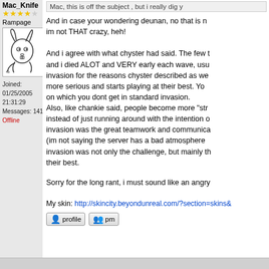Mac_Knife
★★★★☆ Rampage
[Figure (illustration): Avatar image of a cartoon rabbit character, line drawing style]
Joined: 01/25/2005 21:31:29
Messages: 141
Offline
Mac, this is off the subject , but i really dig y
And in case your wondering deunan, no that is not me, im not THAT crazy, heh!

And i agree with what chyster had said. The few times and i died ALOT and VERY early each wave, usually invasion for the reasons chyster described as well as... more serious and starts playing at their best. You on which you dont get in standard invasion.
Also, like chankie said, people become more "str instead of just running around with the intention of invasion was the great teamwork and communica (im not saying the server has a bad atmosphere invasion was not only the challenge, but mainly the their best.
Sorry for the long rant, i must sound like an angry
My skin: http://skincity.beyondunreal.com/?section=skins&